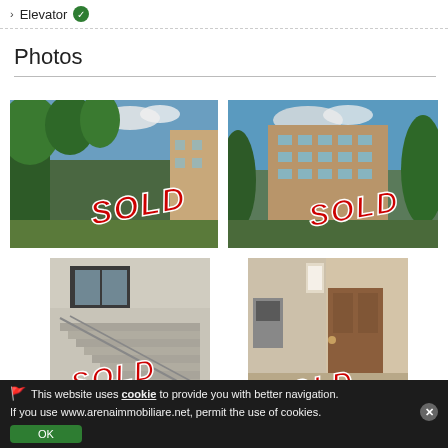Elevator ✓
Photos
[Figure (photo): Exterior photo of residential building with trees, stamped SOLD in red]
[Figure (photo): Exterior photo of multi-story apartment building with trees, stamped SOLD in red]
[Figure (photo): Interior staircase photo, stamped SOLD in red]
[Figure (photo): Interior hallway/entrance photo, stamped SOLD in red]
🚩 This website uses cookie to provide you with better navigation. If you use www.arenaimmobiliare.net, permit the use of cookies.